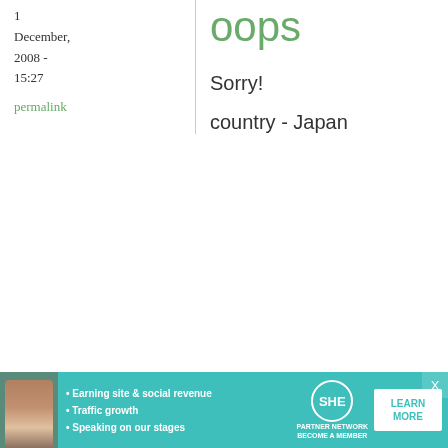1 December, 2008 - 15:27
permalink
oops
Sorry!
country - Japan
Diana
1 December, 2008 - 15:36
permalink
Congrats!
Congrats on your 5-year anniversary! I love your insights on Japanese food from outside Japan. Keep up
[Figure (infographic): SHE Partner Network advertisement banner with teal background, bullet points about earning site & social revenue, traffic growth, speaking on stages, SHE logo, and LEARN MORE button]